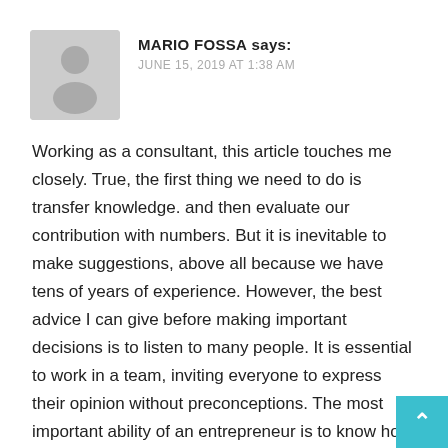[Figure (illustration): Gray placeholder avatar icon — silhouette of a person on gray rounded rectangle background]
MARIO FOSSA says:
JUNE 15, 2019 AT 1:38 AM
Working as a consultant, this article touches me closely. True, the first thing we need to do is transfer knowledge. and then evaluate our contribution with numbers. But it is inevitable to make suggestions, above all because we have tens of years of experience. However, the best advice I can give before making important decisions is to listen to many people. It is essential to work in a team, inviting everyone to express their opinion without preconceptions. The most important ability of an entrepreneur is to know how to choose the right counselors.